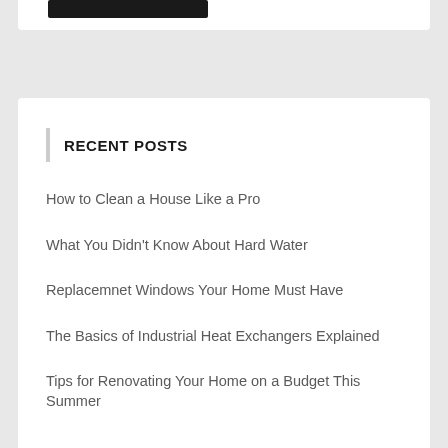RECENT POSTS
How to Clean a House Like a Pro
What You Didn't Know About Hard Water
Replacemnet Windows Your Home Must Have
The Basics of Industrial Heat Exchangers Explained
Tips for Renovating Your Home on a Budget This Summer